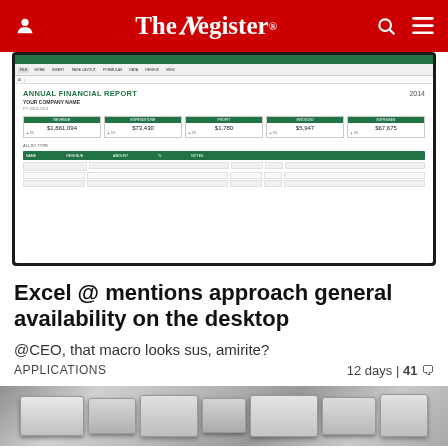The Register
[Figure (screenshot): Screenshot of Microsoft Excel showing an Annual Financial Report template with green headers, five financial metric cards, and a data table below]
Excel @ mentions approach general availability on the desktop
@CEO, that macro looks sus, amirite?
APPLICATIONS   12 days | 41 comments
[Figure (photo): Close-up photo of keyboard keys in black and white/gray tones]